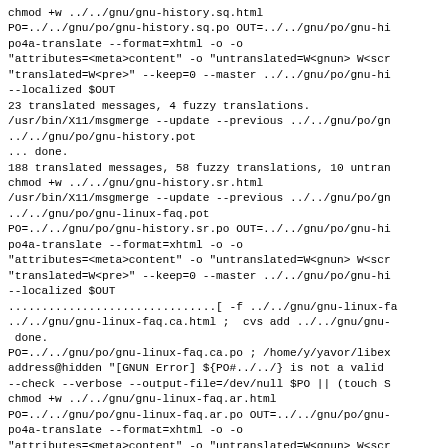chmod +w ../../gnu/gnu-history.sq.html
PO=../../gnu/po/gnu-history.sq.po OUT=../../gnu/po/gnu-hi
po4a-translate --format=xhtml -o ontagerror=silent -o
"attributes=<meta>content" -o "untranslated=W<gnun> W<scr
"translated=W<pre>" --keep=0 --master ../../gnu/po/gnu-hi
--localized $OUT
23 translated messages, 4 fuzzy translations.
/usr/bin/X11/msgmerge --update --previous ../../gnu/po/gn
../../gnu/po/gnu-history.pot
... done.
188 translated messages, 58 fuzzy translations, 10 untran
chmod +w ../../gnu/gnu-history.sr.html
/usr/bin/X11/msgmerge --update --previous ../../gnu/po/gn
../../gnu/po/gnu-linux-faq.pot
PO=../../gnu/po/gnu-history.sr.po OUT=../../gnu/po/gnu-hi
po4a-translate --format=xhtml -o ontagerror=silent -o
"attributes=<meta>content" -o "untranslated=W<gnun> W<scr
"translated=W<pre>" --keep=0 --master ../../gnu/po/gnu-hi
--localized $OUT
...............................[ -f ../../gnu/gnu-linux-fa
../../gnu/gnu-linux-faq.ca.html ;  cvs add ../../gnu/gnu-
 done.
PO=../../gnu/po/gnu-linux-faq.ca.po ; /home/y/yavor/libex
address@hidden "[GNUN Error] ${PO#../../} is not a valid
--check --verbose --output-file=/dev/null $PO || (touch S
chmod +w ../../gnu/gnu-linux-faq.ar.html
PO=../../gnu/po/gnu-linux-faq.ar.po OUT=../../gnu/po/gnu-
po4a-translate --format=xhtml -o ontagerror=silent -o
"attributes=<meta>content" -o "untranslated=W<gnun> W<scr
"translated=W<pre>" --keep=0 --master ../../gnu/po/gnu-li
--localized $OUT